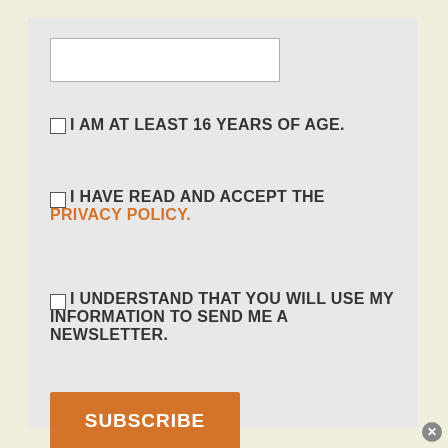[Figure (other): Empty text input field with white background and border]
I AM AT LEAST 16 YEARS OF AGE.
I HAVE READ AND ACCEPT THE PRIVACY POLICY.
I UNDERSTAND THAT YOU WILL USE MY INFORMATION TO SEND ME A NEWSLETTER.
SUBSCRIBE